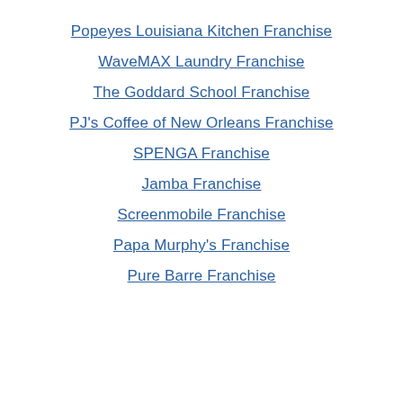Popeyes Louisiana Kitchen Franchise
WaveMAX Laundry Franchise
The Goddard School Franchise
PJ's Coffee of New Orleans Franchise
SPENGA Franchise
Jamba Franchise
Screenmobile Franchise
Papa Murphy's Franchise
Pure Barre Franchise